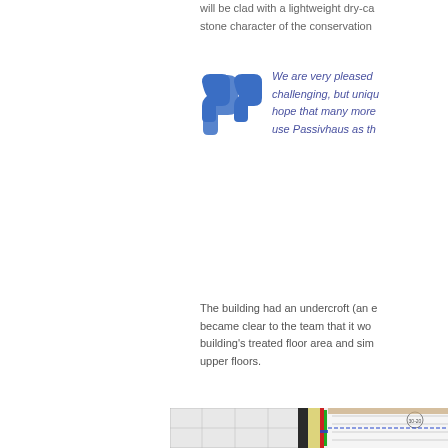will be clad with a lightweight dry-ca... stone character of the conservation...
We are very pleased... challenging, but uniqu... hope that many more... use Passivhaus as th...
The building had an undercroft (an e... became clear to the team that it wo... building's treated floor area and sim... upper floors.
[Figure (engineering-diagram): Architectural cross-section detail drawing showing wall/floor junction with colored layers (yellow insulation, red and blue service lines, green layer), steel columns, and window frames. Dimensions annotated.]